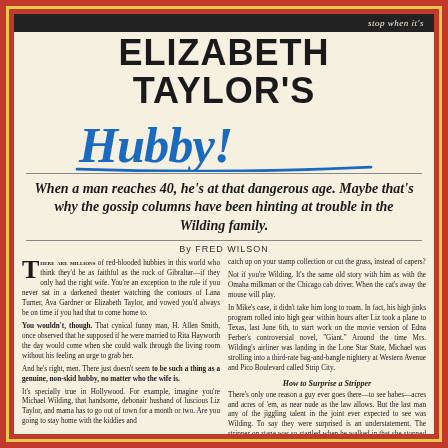ELIZABETH TAYLOR'S
Hubby!
When a man reaches 40, he's at that dangerous age. Maybe that's why the gossip columns have been hinting at trouble in the Wilding family.
By FRED WILSON
THERE ARE MILLIONS of red-blooded hubbies in this world who think they'd be as faithful as the rock of Gibraltar—if they only had the right wife. You're an exception to the rule if you never sat in a darkened theater watching the contours of Lana Turner, Ava Gardner or Elizabeth Taylor, and vowed you'd always be on time if you had that to come home to. You wouldn't, though. That cynical funny man, H. Allen Smith, once observed that he supposed if he were married to Rita Hayworth the day would come when she could walk through the living room without his feeling an urge to grab her. And he's right, men. There just doesn't seem to be such a thing as a genuine, non-skid hubby, no matter who the wife is. It's specially true in Hollywood. For example, imagine you're Michael Wilding, that handsome, debonair husband of luscious Liz Taylor, and mama has to go out of town for a month or two. Are you going to stay home with the kiddies and catch up on your stamp collection or cut the grass, instead of capers? Not if you're Wilding. It's the same old story with him as with the Omaha milkman or the Chicago cab driver. When the cat's away the mouse will play. In Mike's case, it didn't take him long to roam. In fact, his high jinks program rolled into high gear within hours after Liz took a plane to Texas, last June 6th, to start work on the movie version of Edna Ferber's controversial novel, 'Giant.' Around the time Mrs. Wilding's airliner was landing in the Lone Star State, Michael was strolling into a third-rate bag-and-bangle nightery at Western Avenue and Pico Boulevard called Strip City.
How to Surprise a Stripper
There's only one reason a guy ever goes there—to see babes—acres and acres of 'em, as near nude as the law allows. But the last man any of the jiggling talent in the joint ever expected to see was Wilding. To say they were surprised is an understatement. The stripper on stage was so startled when he walked in that she stopped in